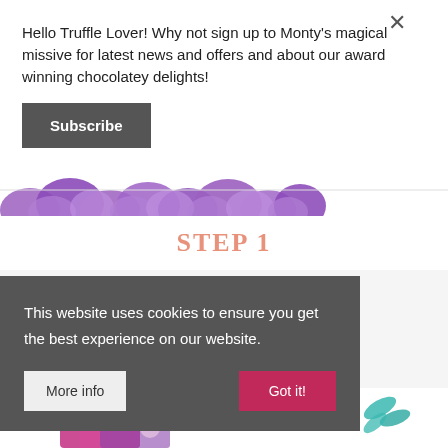Hello Truffle Lover! Why not sign up to Monty's magical missive for latest news and offers and about our award winning chocolatey delights!
Subscribe
[Figure (illustration): Purple cloud/scallop decorative border strip]
STEP 1
[Figure (illustration): Colorful illustrated chocolates and unicorn scene at bottom of page]
This website uses cookies to ensure you get the best experience on our website.
More info
Got it!